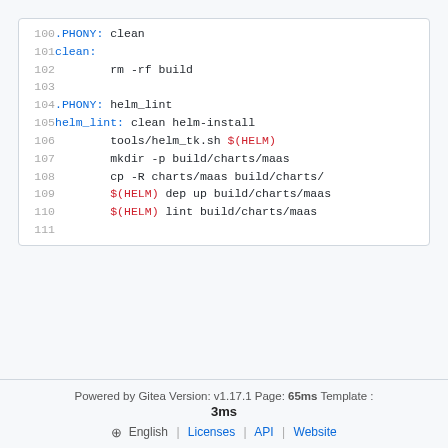100   .PHONY: clean
101   clean:
102           rm -rf build
103
104   .PHONY: helm_lint
105   helm_lint: clean helm-install
106           tools/helm_tk.sh $(HELM)
107           mkdir -p build/charts/maas
108           cp -R charts/maas build/charts/
109           $(HELM) dep up build/charts/maas
110           $(HELM) lint build/charts/maas
111
Powered by Gitea Version: v1.17.1 Page: 65ms Template : 3ms English | Licenses | API | Website